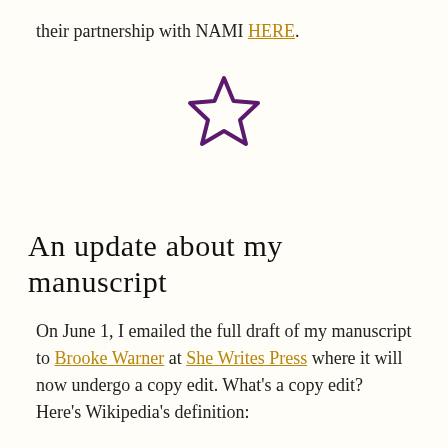their partnership with NAMI HERE.
[Figure (illustration): A purple outlined star icon centered on the page as a decorative divider.]
An update about my manuscript
On June 1, I emailed the full draft of my manuscript to Brooke Warner at She Writes Press where it will now undergo a copy edit. What's a copy edit? Here's Wikipedia's definition: